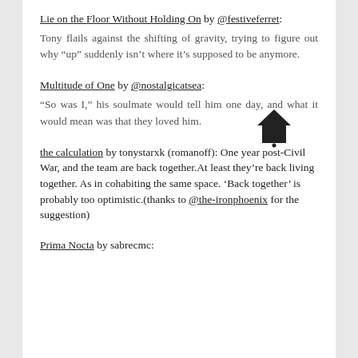Lie on the Floor Without Holding On by @festiveferret:
Tony flails against the shifting of gravity, trying to figure out why “up” suddenly isn’t where it’s supposed to be anymore.
Multitude of One by @nostalgicatsea:
“So was I,” his soulmate would tell him one day, and what it would mean was that they loved him.
the calculation by tonystarxk (romanoff): One year post-Civil War, and the team are back together.At least they’re back living together. As in cohabiting the same space. ‘Back together’ is probably too optimistic.(thanks to @the-ironphoenix for the suggestion)
Prima Nocta by sabrecmc: